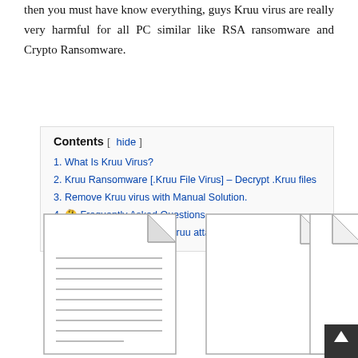then you must have know everything, guys Kruu virus are really very harmful for all PC similar like RSA ransomware and Crypto Ransomware.
Contents [ hide ]
1. What Is Kruu Virus?
2. Kruu Ransomware [.Kruu File Virus] – Decrypt .Kruu files
3. Remove Kruu virus with Manual Solution.
4. 🤔 Frequently Asked Questions
5. You can also report the Kruu attack to the Authorities
[Figure (illustration): Three document/file icons side by side. The leftmost icon shows a document with lines of text. The middle and right icons are blank document icons. Partially visible at the bottom of the page.]